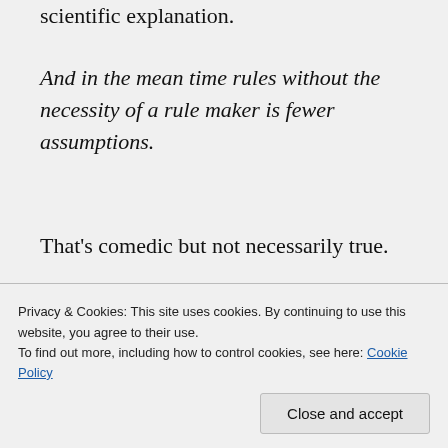scientific explanation.
And in the mean time rules without the necessity of a rule maker is fewer assumptions.
That's comedic but not necessarily true.
Why do you think there needs to be a first cause? Our universe began but its beginning is not subject to
Privacy & Cookies: This site uses cookies. By continuing to use this website, you agree to their use.
To find out more, including how to control cookies, see here: Cookie Policy
Close and accept
Everything that BEGINS to exist has